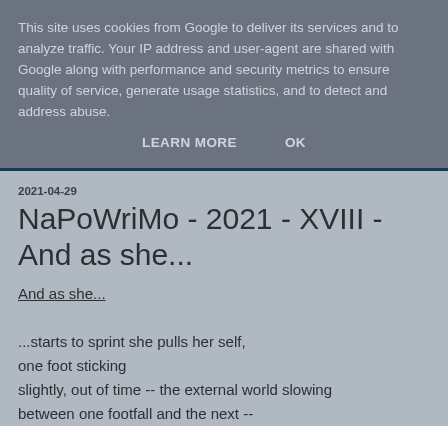This site uses cookies from Google to deliver its services and to analyze traffic. Your IP address and user-agent are shared with Google along with performance and security metrics to ensure quality of service, generate usage statistics, and to detect and address abuse.
LEARN MORE   OK
2021-04-29
NaPoWriMo - 2021 - XVIII - And as she...
And as she...
...starts to sprint she pulls her self,
one foot sticking
slightly, out of time -- the external world slowing
between one footfall and the next --